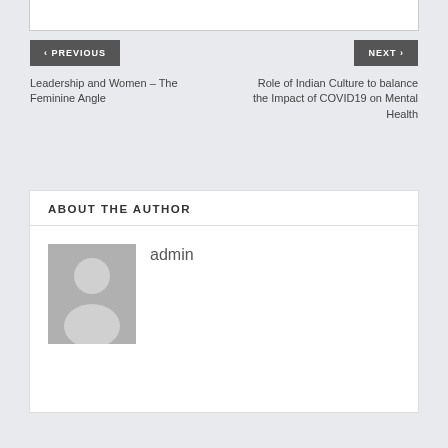< PREVIOUS
Leadership and Women – The Feminine Angle
NEXT >
Role of Indian Culture to balance the Impact of COVID19 on Mental Health
ABOUT THE AUTHOR
admin